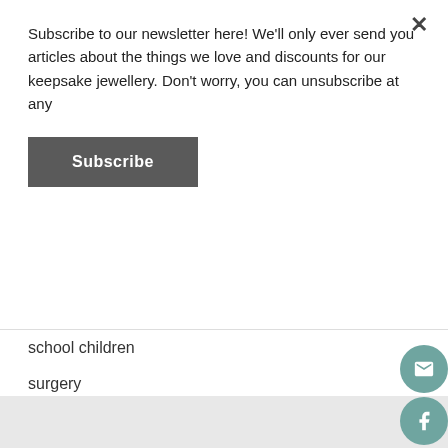Subscribe to our newsletter here! We'll only ever send you articles about the things we love and discounts for our keepsake jewellery. Don't worry, you can unsubscribe at any
Subscribe
school children
surgery
sustainability and fairtrade
toddlers
Uncategorized
vegan plant based
working
working parenthood
[Figure (infographic): Social media icons: email, Facebook, YouTube, Instagram, Pinterest circles in teal color with back-to-top arrow button]